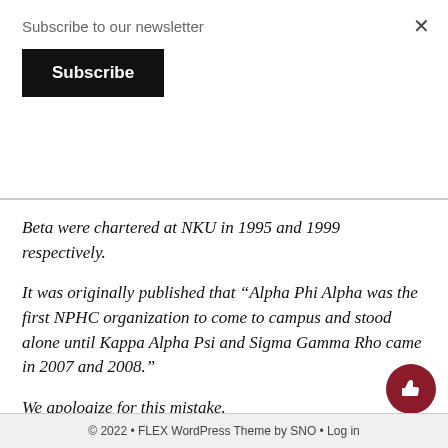Subscribe to our newsletter
Subscribe
Beta were chartered at NKU in 1995 and 1999 respectively.
It was originally published that “Alpha Phi Alpha was the first NPHC organization to come to campus and stood alone until Kappa Alpha Psi and Sigma Gamma Rho came in 2007 and 2008.”
We apologize for this mistake.
Greek Life
© 2022 • FLEX WordPress Theme by SNO • Log in